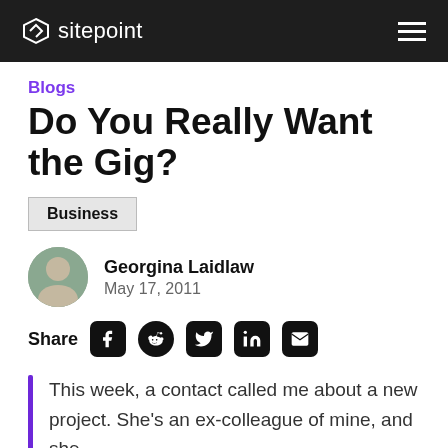sitepoint
Blogs
Do You Really Want the Gig?
Business
Georgina Laidlaw
May 17, 2011
Share
This week, a contact called me about a new project. She's an ex-colleague of mine, and she